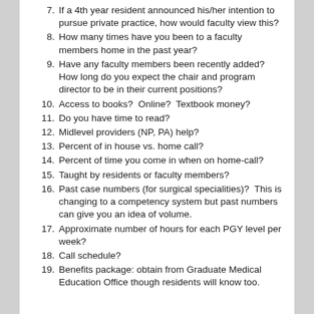7. If a 4th year resident announced his/her intention to pursue private practice, how would faculty view this?
8. How many times have you been to a faculty members home in the past year?
9. Have any faculty members been recently added? How long do you expect the chair and program director to be in their current positions?
10. Access to books?  Online?  Textbook money?
11. Do you have time to read?
12. Midlevel providers (NP, PA) help?
13. Percent of in house vs. home call?
14. Percent of time you come in when on home-call?
15. Taught by residents or faculty members?
16. Past case numbers (for surgical specialities)?  This is changing to a competency system but past numbers can give you an idea of volume.
17. Approximate number of hours for each PGY level per week?
18. Call schedule?
19. Benefits package: obtain from Graduate Medical Education Office though residents will know too.